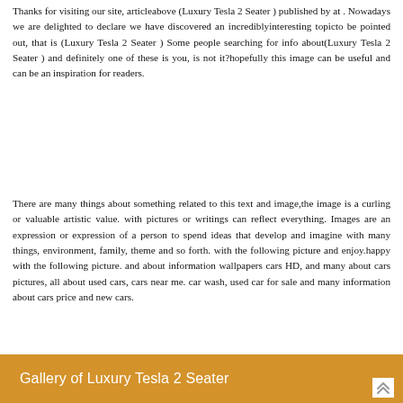Thanks for visiting our site, articleabove (Luxury Tesla 2 Seater ) published by at . Nowadays we are delighted to declare we have discovered an incrediblyinteresting topicto be pointed out, that is (Luxury Tesla 2 Seater ) Some people searching for info about(Luxury Tesla 2 Seater ) and definitely one of these is you, is not it?hopefully this image can be useful and can be an inspiration for readers.
There are many things about something related to this text and image,the image is a curling or valuable artistic value. with pictures or writings can reflect everything. Images are an expression or expression of a person to spend ideas that develop and imagine with many things, environment, family, theme and so forth. with the following picture and enjoy.happy with the following picture. and about information wallpapers cars HD, and many about cars pictures, all about used cars, cars near me. car wash, used car for sale and many information about cars price and new cars.
Gallery of Luxury Tesla 2 Seater